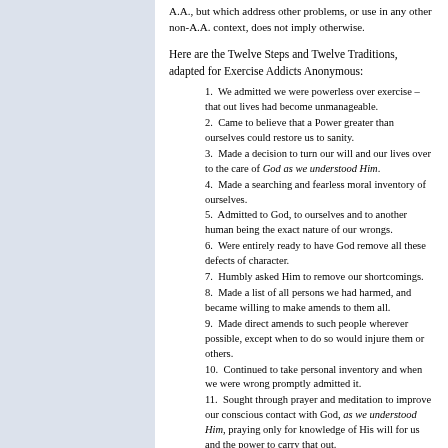A.A., but which address other problems, or use in any other non-A.A. context, does not imply otherwise.
Here are the Twelve Steps and Twelve Traditions, adapted for Exercise Addicts Anonymous:
1.  We admitted we were powerless over exercise – that out lives had become unmanageable.
2.  Came to believe that a Power greater than ourselves could restore us to sanity.
3.  Made a decision to turn our will and our lives over to the care of God as we understood Him.
4.  Made a searching and fearless moral inventory of ourselves.
5.  Admitted to God, to ourselves and to another human being the exact nature of our wrongs.
6.  Were entirely ready to have God remove all these defects of character.
7.  Humbly asked Him to remove our shortcomings.
8.  Made a list of all persons we had harmed, and became willing to make amends to them all.
9.  Made direct amends to such people wherever possible, except when to do so would injure them or others.
10.  Continued to take personal inventory and when we were wrong promptly admitted it.
11.  Sought through prayer and meditation to improve our conscious contact with God, as we understood Him, praying only for knowledge of His will for us and the power to carry that out.
12.  Having had a spiritual awakening as the result of these steps, we tried to carry this message to exercise addicts, and to practice these principles in all our affairs.
1.  Our common welfare should come first;